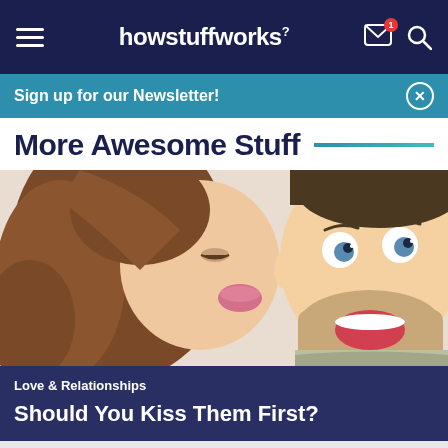howstuffworks
Sign up for our Newsletter!
More Awesome Stuff
[Figure (photo): Woman kissing a surprised/delighted man on the cheek against a white background]
Love & Relationships
Should You Kiss Them First?